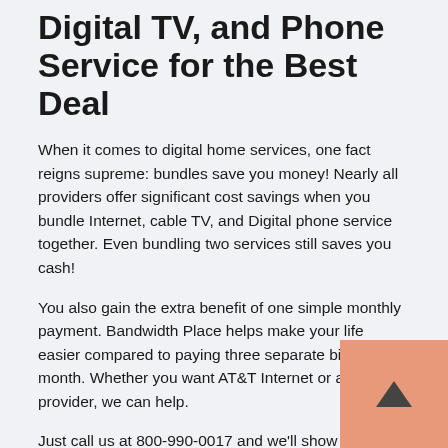Digital TV, and Phone Service for the Best Deal
When it comes to digital home services, one fact reigns supreme: bundles save you money! Nearly all providers offer significant cost savings when you bundle Internet, cable TV, and Digital phone service together. Even bundling two services still saves you cash!
You also gain the extra benefit of one simple monthly payment. Bandwidth Place helps make your life easier compared to paying three separate bills each month. Whether you want AT&T Internet or another provider, we can help.
Just call us at 800-990-0017 and we'll show you the top Internet, TV, and phone providers in Princewick, WV. Compare the different Internet plans and bundles and